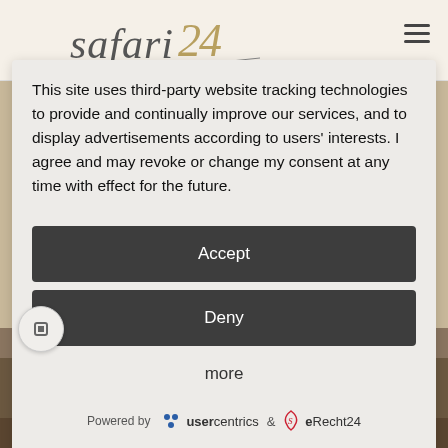[Figure (logo): Safari24 logo - handwritten style text with decorative 24 numeral in gold]
This site uses third-party website tracking technologies to provide and continually improve our services, and to display advertisements according to users' interests. I agree and may revoke or change my consent at any time with effect for the future.
Accept
Deny
more
Powered by  usercentrics  &  eRecht24
[Figure (photo): Background photo showing people in a natural outdoor setting with trees and brush]